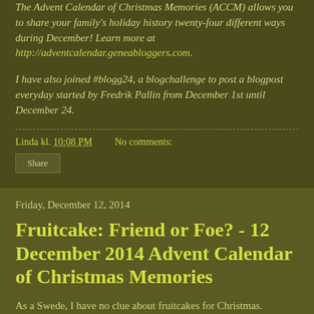The Advent Calendar of Christmas Memories (ACCM) allows you to share your family's holiday history twenty-four different ways during December! Learn more at http://adventcalendar.geneabloggers.com.
I have also joined #blogg24, a blogchallenge to post a blogpost everyday started by Fredrik Pallin from December 1st until December 24.
Linda kl. 10:08 PM    No comments:
Share
Friday, December 12, 2014
Fruitcake: Friend or Foe? - 12 December 2014 Advent Calendar of Christmas Memories
As a Swede, I have no clue about fruitcakes for Christmas.